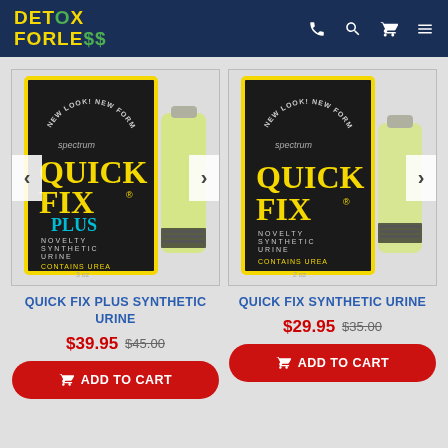DETOX FORLESS — navigation header with phone, search, cart, menu icons
[Figure (photo): Quick Fix Plus Synthetic Urine product packaging — black and yellow box with bottle, 3 oz, labeled NOVELTY SYNTHETIC URINE CONTAINS UREA]
QUICK FIX PLUS SYNTHETIC URINE
$39.95  $45.00
ADD TO CART
[Figure (photo): Quick Fix Synthetic Urine product packaging — black and yellow box with bottle, 2 oz, labeled NOVELTY SYNTHETIC URINE CONTAINS UREA]
QUICK FIX SYNTHETIC URINE
$29.95  $35.00
ADD TO CART